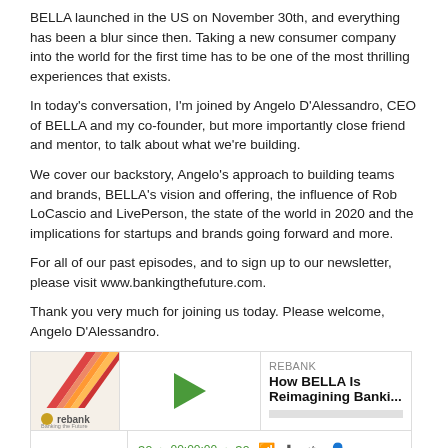BELLA launched in the US on November 30th, and everything has been a blur since then. Taking a new consumer company into the world for the first time has to be one of the most thrilling experiences that exists.
In today's conversation, I'm joined by Angelo D'Alessandro, CEO of BELLA and my co-founder, but more importantly close friend and mentor, to talk about what we're building.
We cover our backstory, Angelo's approach to building teams and brands, BELLA's vision and offering, the influence of Rob LoCascio and LivePerson, the state of the world in 2020 and the implications for startups and brands going forward and more.
For all of our past episodes, and to sign up to our newsletter, please visit www.bankingthefuture.com.
Thank you very much for joining us today. Please welcome, Angelo D'Alessandro.
[Figure (screenshot): Podcast player widget for REBANK episode 'How BELLA Is Reimagining Banki...' with play button, progress bar, time controls showing 00:00:00, and rebank logo]
Download this Episode